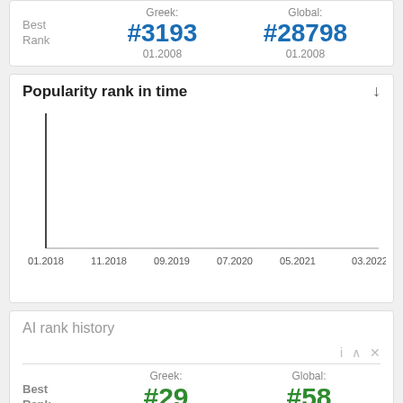|  | Greek: | Global: |
| --- | --- | --- |
| Best Rank | #3193
01.2008 | #28798
01.2008 |
Popularity rank in time
[Figure (continuous-plot): Popularity rank in time line chart with x-axis showing dates from 01.2018 to 03.2022. The chart shows a vertical line near 01.2018 indicating a spike, with mostly empty chart area afterward.]
AI rank history
|  | Greek: | Global: |
| --- | --- | --- |
| Best Rank | #29
03.2004 | #58
05.2002 |
AI rank in time